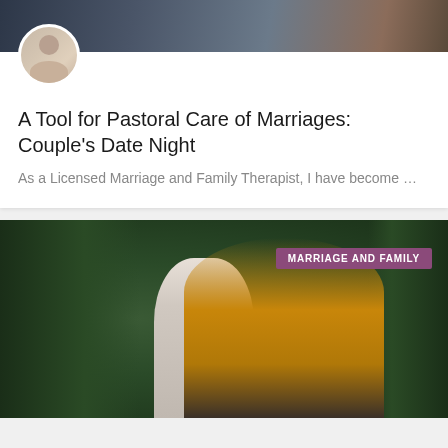[Figure (photo): Top banner photo of a couple, dark tones]
[Figure (photo): Circular avatar portrait of a smiling man]
A Tool for Pastoral Care of Marriages: Couple’s Date Night
As a Licensed Marriage and Family Therapist, I have become …
[Figure (photo): Outdoor photo of a mother holding a baby and a child, with trees in the background. Tag: MARRIAGE AND FAMILY]